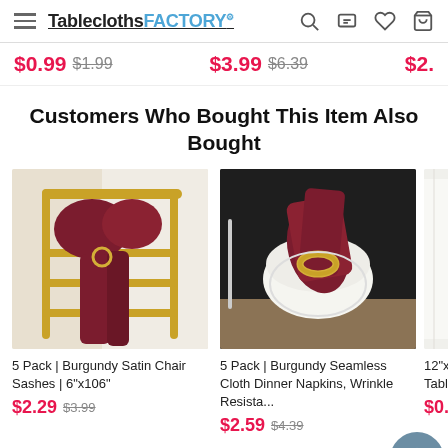TableclothsFACTORY.com — navigation header with hamburger menu, logo, search, chat, wishlist, and cart icons
$0.99 $1.99   $3.99 $6.39   $2.
Customers Who Bought This Item Also Bought
[Figure (photo): Gold chiavari chair with burgundy satin chair sash tied in a bow with a rhinestone ring]
5 Pack | Burgundy Satin Chair Sashes | 6"x106"
$2.29 $3.99
[Figure (photo): Burgundy cloth dinner napkin folded and placed in a white bowl on a black tray with a gold napkin ring]
5 Pack | Burgundy Seamless Cloth Dinner Napkins, Wrinkle Resista...
$2.59 $4.39
[Figure (photo): Partial view of a third product — white tablecloth or fabric item]
12"x Tabl
$0.